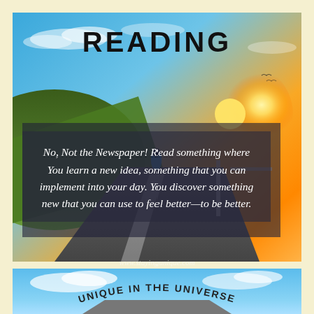[Figure (photo): Scenic road photo with mountain, blue sky, and sunset. A runner is on the road. The top panel shows a winding coastal highway at sunset/sunrise with green hills on the left and bright orange sun on the right.]
READING
No, Not the Newspaper! Read something where You learn a new idea, something that you can implement into your day. You discover something new that you can use to feel better—to be better.
www.stayingunique.com
[Figure (photo): Bottom panel showing a blue sky with clouds and a road, with curved text reading 'UNIQUE IN THE UNIVERSE' arching over the scene.]